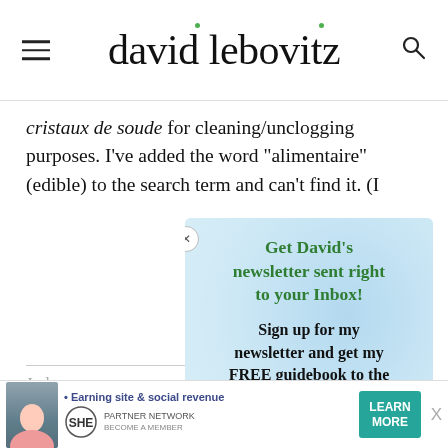david lebovitz
cristaux de soude for cleaning/unclogging purposes. I've added the word “alimentaire” (edible) to the search term and can’t find it. (I
[Figure (other): Newsletter signup popup overlay with teal/light blue background showing a bread/pastry image, containing text: 'Get David’s newsletter sent right to your Inbox!' and 'Sign up for my newsletter and get my FREE guidebook to the best bakeries and pastry shops in Paris...' with a teal 'Click HERE to subscribe' button and a close X button]
not
hat's the
e, that's
next, if
Judy
In this
make baking
o, a
[Figure (infographic): Bottom advertisement banner for SHE Media Partner Network with text 'Earning site & social revenue', SHE logo, and 'LEARN MORE' button]